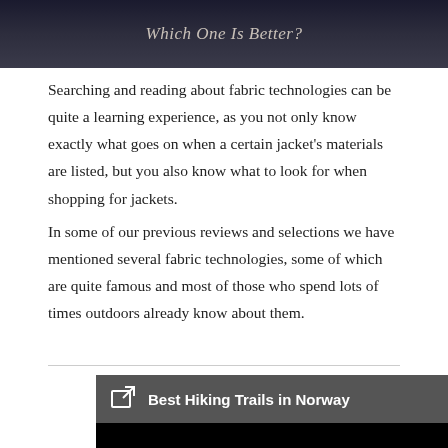[Figure (photo): Dark banner image with italic text 'Which One Is Better?' overlaid on a dark background]
Searching and reading about fabric technologies can be quite a learning experience, as you not only know exactly what goes on when a certain jacket’s materials are listed, but you also know what to look for when shopping for jackets.
In some of our previous reviews and selections we have mentioned several fabric technologies, some of which are quite famous and most of those who spend lots of times outdoors already know about them.
[Figure (screenshot): Related content widget with dark grey header containing an external link icon and the text 'Best Hiking Trails in Norway', followed by a black image area and a grey area below with a play button arrow, and an X close button at the right]